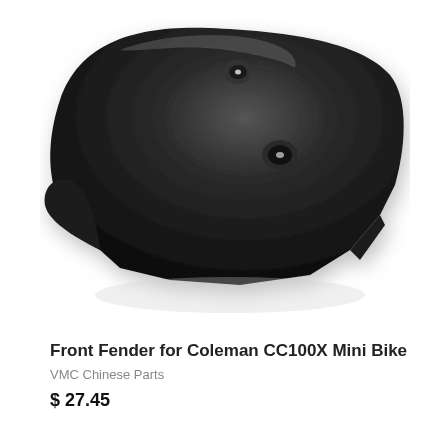[Figure (photo): Product photo of a black plastic front fender for Coleman CC100X Mini Bike, shown at an angle on a white background. The fender has a curved, shield-like shape with two mounting holes visible on the top surface.]
Front Fender for Coleman CC100X Mini Bike
VMC Chinese Parts
$ 27.45